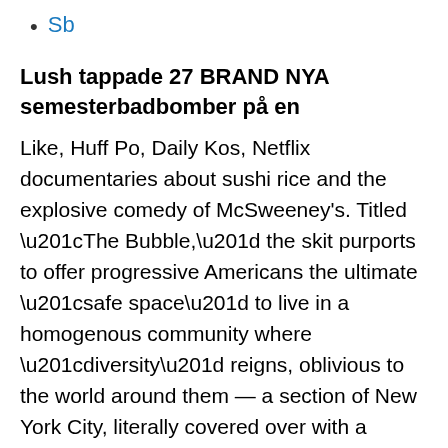Sb
Lush tappade 27 BRAND NYA semesterbadbomber på en
Like, Huff Po, Daily Kos, Netflix documentaries about sushi rice and the explosive comedy of McSweeney's. Titled “The Bubble,” the skit purports to offer progressive Americans the ultimate “safe space” to live in a homogenous community where “diversity” reigns, oblivious to the world around them — a section of New York City, literally covered over with a transparent bubble. SNL Sketch "The Bubble" Perfectly Describes Liberal Intellectual Isolationism SNL Is Mostly Shit, But Making Fun of Safe Space Cucks Is Hilarious [Silly Saturday] The Bubble -